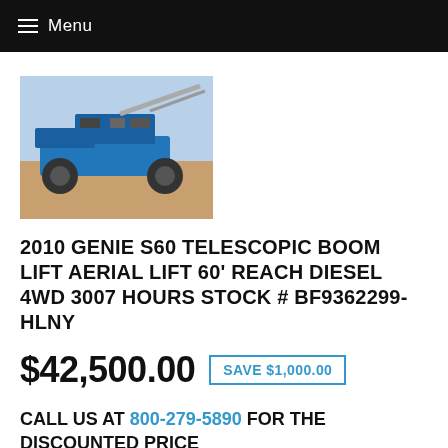≡ Menu
[Figure (photo): Photo of a 2010 Genie S60 Telescopic Boom Lift, viewed from above/side, blue equipment on outdoor ground]
2010 GENIE S60 TELESCOPIC BOOM LIFT AERIAL LIFT 60' REACH DIESEL 4WD 3007 HOURS STOCK # BF9362299-HLNY
$42,500.00  SAVE $1,000.00
CALL US AT 800-279-5890 FOR THE DISCOUNTED PRICE
TEXT US YOUR QUESTIONS: 716-705-5914 (tap to text)